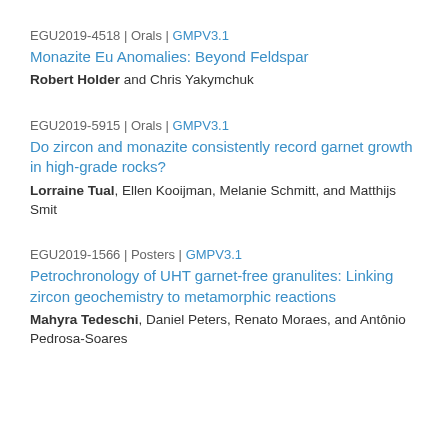EGU2019-4518 | Orals | GMPV3.1
Monazite Eu Anomalies: Beyond Feldspar
Robert Holder and Chris Yakymchuk
EGU2019-5915 | Orals | GMPV3.1
Do zircon and monazite consistently record garnet growth in high-grade rocks?
Lorraine Tual, Ellen Kooijman, Melanie Schmitt, and Matthijs Smit
EGU2019-1566 | Posters | GMPV3.1
Petrochronology of UHT garnet-free granulites: Linking zircon geochemistry to metamorphic reactions
Mahyra Tedeschi, Daniel Peters, Renato Moraes, and Antônio Pedrosa-Soares